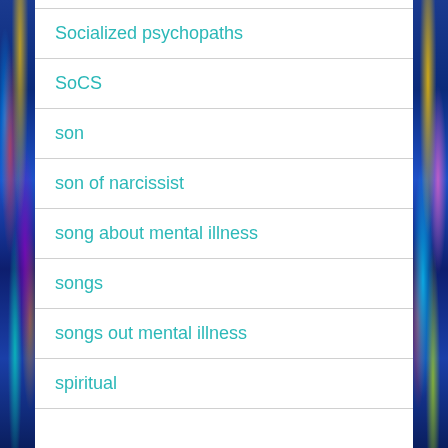Socialized psychopaths
SoCS
son
son of narcissist
song about mental illness
songs
songs out mental illness
spiritual